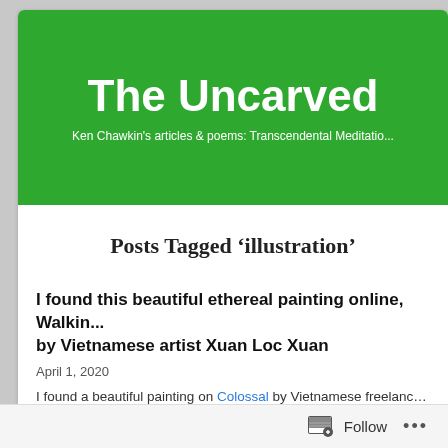The Uncarved
Ken Chawkin's articles & poems: Transcendental Meditatio...
Posts Tagged 'illustration'
I found this beautiful ethereal painting online, Walking by Vietnamese artist Xuan Loc Xuan
April 1, 2020
I found a beautiful painting on Colossal by Vietnamese freelance illustrator...